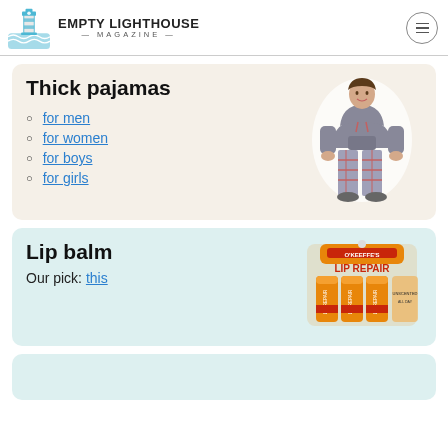Empty Lighthouse Magazine
Thick pajamas
for men
for women
for boys
for girls
[Figure (photo): Woman wearing grey hoodie and plaid pajama pants]
Lip balm
Our pick: this
[Figure (photo): O'Keeffe's Lip Repair lip balm sticks in orange packaging]